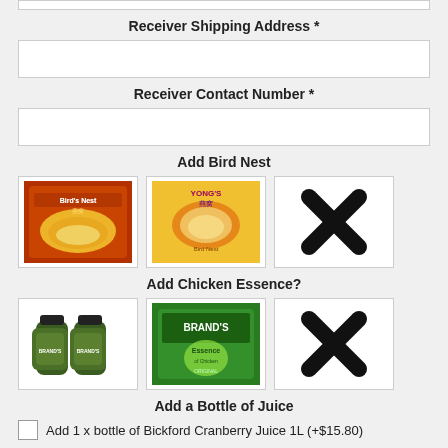Receiver Shipping Address *
Receiver Contact Number *
Add Bird Nest
[Figure (photo): Three product options for Bird Nest: product 1 (red package Bird's Nest), product 2 (yellow package Bird Nest with Chinese text), and an X/cross indicating no selection.]
Add Chicken Essence?
[Figure (photo): Three product options for Chicken Essence: product 1 (Brand's chicken essence bottles), product 2 (Brand's Essence green box), and an X/cross indicating no selection.]
Add a Bottle of Juice
Add 1 x bottle of Bickford Cranberry Juice 1L (+$15.80)
Add 1 x bottle of Bickford Pomegranate Juice 1L (+$15.80)
Add 1 x bottle of Sunsweet Prune Juice 946ml (+$13.80)